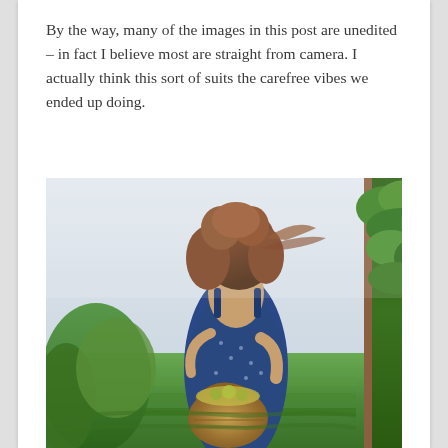By the way, many of the images in this post are unedited – in fact I believe most are straight from camera. I actually think this sort of suits the carefree vibes we ended up doing.
[Figure (photo): A woman with curly brown hair wearing a blue floral sundress stands in a vineyard, holding a wicker basket. She is looking upward and to the side. Green grapevines are visible on the right side of the image, and more vineyard rows are visible in the background.]